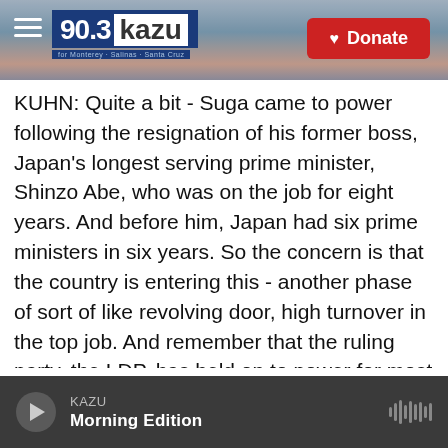[Figure (screenshot): KAZU 90.3 radio station header banner with logo, hamburger menu, and Donate button over a coastal landscape background image]
KUHN: Quite a bit - Suga came to power following the resignation of his former boss, Japan's longest serving prime minister, Shinzo Abe, who was on the job for eight years. And before him, Japan had six prime ministers in six years. So the concern is that the country is entering this - another phase of sort of like revolving door, high turnover in the top job. And remember that the ruling party, the LDP, has held on to power for most of the past seven decades. So while it's not likely to lose power altogether, it looks like internal divisions and competition within the party are heating up.
KAZU Morning Edition